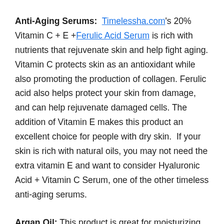Anti-Aging Serums: Timelessha.com's 20% Vitamin C + E +Ferulic Acid Serum is rich with nutrients that rejuvenate skin and help fight aging. Vitamin C protects skin as an antioxidant while also promoting the production of collagen. Ferulic acid also helps protect your skin from damage, and can help rejuvenate damaged cells. The addition of Vitamin E makes this product an excellent choice for people with dry skin.  If your skin is rich with natural oils, you may not need the extra vitamin E and want to consider Hyaluronic Acid + Vitamin C Serum, one of the other timeless anti-aging serums.
Argan Oil: This product is great for moisturizing